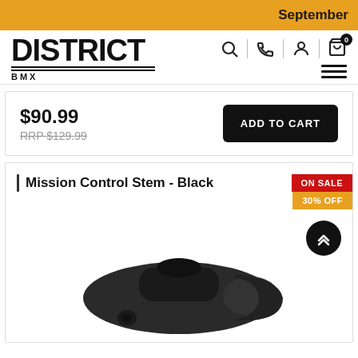September
[Figure (logo): District BMX logo - bold black text with double underline and BMX subtitle]
$90.99
RRP $129.99
ADD TO CART
Mission Control Stem - Black
ON SALE
30% OFF
[Figure (photo): Black BMX stem bicycle component photographed on white background]